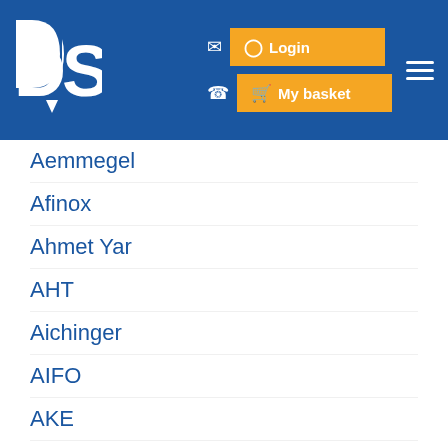DSV — Login | My basket
Aemmegel
Afinox
Ahmet Yar
AHT
Aichinger
AIFO
AKE
Alaska
Alba Horovice
Alcold
Alinox
Alluserv
Almaco
Alnox
Alpeninox